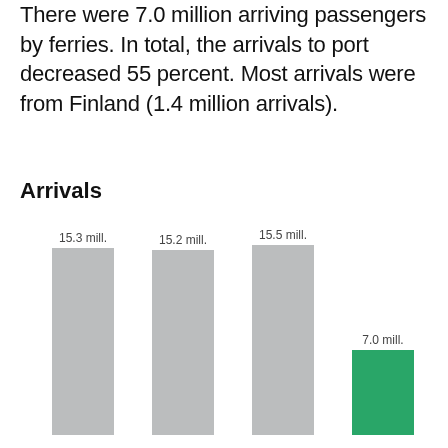There were 7.0 million arriving passengers by ferries. In total, the arrivals to port decreased 55 percent. Most arrivals were from Finland (1.4 million arrivals).
Arrivals
[Figure (bar-chart): Arrivals]